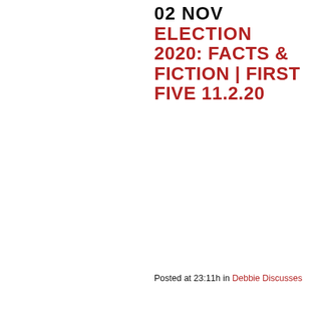02 NOV ELECTION 2020: FACTS & FICTION | FIRST FIVE 11.2.20
Posted at 23:11h in Debbie Discusses
https://www.youtube.com/watch?v=lpSELTM-eUE Election 2020: Facts & Fiction Follow Debbie Georgatos! WEBSITE: http://americacanwetalk.org FACEBOOK: https://www.facebook.com/AmericaCanWeTalk America Can We Talk is a